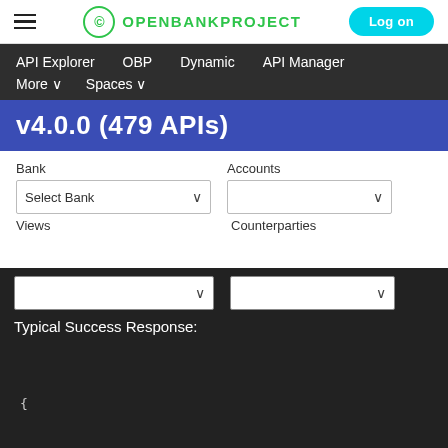Open Bank Project - Log on
API Explorer   OBP   Dynamic   API Manager   More ∨   Spaces ∨
v4.0.0 (479 APIs)
Bank
Select Bank
Accounts
Views
Counterparties
Typical Success Response:
{